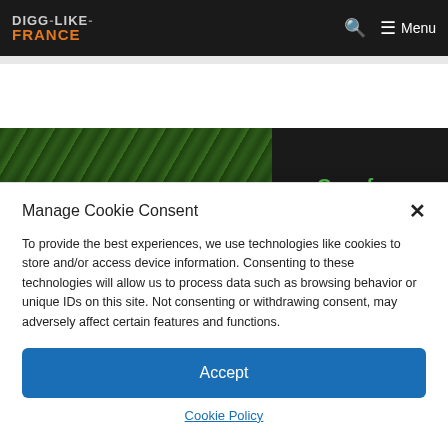DIGG-LIKE-FRANCE — Menu
[Figure (photo): Two images side by side: left is a green leafy hedge/grass close-up, right is a Carrefour contact store sign on dark background with green text]
Manage Cookie Consent
To provide the best experiences, we use technologies like cookies to store and/or access device information. Consenting to these technologies will allow us to process data such as browsing behavior or unique IDs on this site. Not consenting or withdrawing consent, may adversely affect certain features and functions.
Accept
Cookie Policy